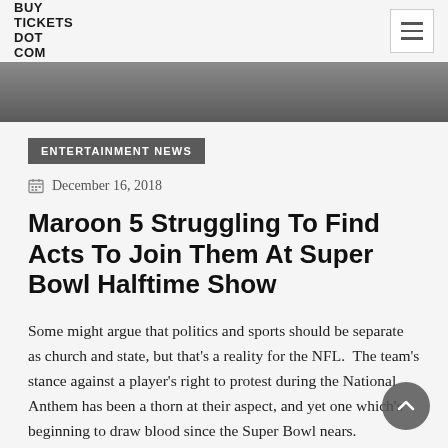BUY TICKETS DOT COM
[Figure (photo): Partial hero image strip at top of article, showing a cropped photograph in dark tones]
ENTERTAINMENT NEWS
December 16, 2018
Maroon 5 Struggling To Find Acts To Join Them At Super Bowl Halftime Show
Some might argue that politics and sports should be separate as church and state, but that's a reality for the NFL. The team's stance against a player's right to protest during the National Anthem has been a thorn at their aspect, and yet one which's beginning to draw blood since the Super Bowl nears.
According to sources at Page Six, Maroon 5 is